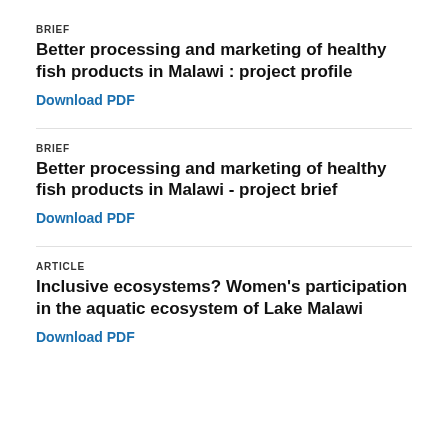BRIEF
Better processing and marketing of healthy fish products in Malawi : project profile
Download PDF
BRIEF
Better processing and marketing of healthy fish products in Malawi - project brief
Download PDF
ARTICLE
Inclusive ecosystems? Women's participation in the aquatic ecosystem of Lake Malawi
Download PDF